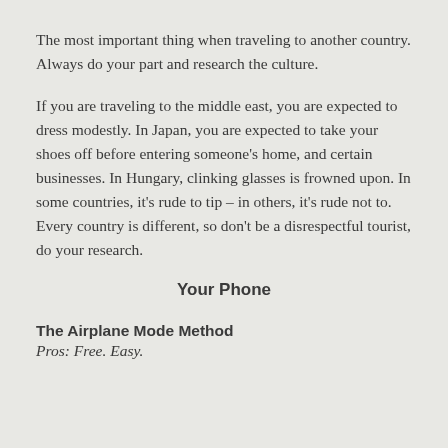The most important thing when traveling to another country. Always do your part and research the culture.
If you are traveling to the middle east, you are expected to dress modestly. In Japan, you are expected to take your shoes off before entering someone's home, and certain businesses. In Hungary, clinking glasses is frowned upon. In some countries, it's rude to tip – in others, it's rude not to. Every country is different, so don't be a disrespectful tourist, do your research.
Your Phone
The Airplane Mode Method
Pros: Free. Easy.